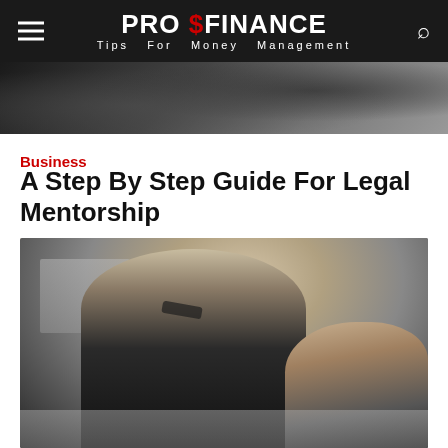PRO $FINANCE — Tips For Money Management
[Figure (photo): Top banner photo showing business people in a meeting, dark-toned image cropped at bottom]
Business
A Step By Step Guide For Legal Mentorship
[Figure (photo): Photo of a man in a dark suit with glasses pushed down, leaning over a table in an office setting with another person partially visible in the foreground]